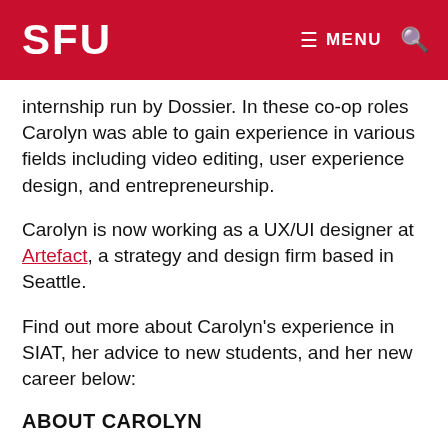SFU | MENU 🔍
internship run by Dossier. In these co-op roles Carolyn was able to gain experience in various fields including video editing, user experience design, and entrepreneurship.
Carolyn is now working as a UX/UI designer at Artefact, a strategy and design firm based in Seattle.
Find out more about Carolyn's experience in SIAT, her advice to new students, and her new career below:
ABOUT CAROLYN
"It feels like ages since I've been in Studio B, and eons since I've visited Studio A. Some of my favourite